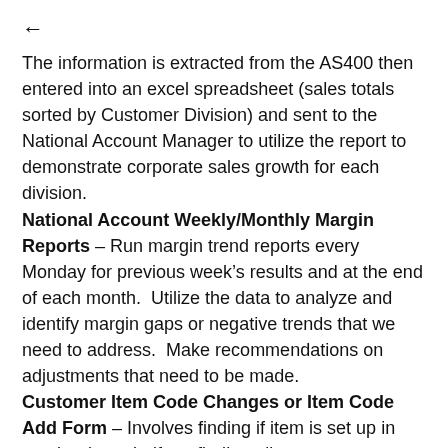←
The information is extracted from the AS400 then entered into an excel spreadsheet (sales totals sorted by Customer Division) and sent to the National Account Manager to utilize the report to demonstrate corporate sales growth for each division.
National Account Weekly/Monthly Margin Reports – Run margin trend reports every Monday for previous week's results and at the end of each month.  Utilize the data to analyze and identify margin gaps or negative trends that we need to address.  Make recommendations on adjustments that need to be made.
Customer Item Code Changes or Item Code Add Form – Involves finding if item is set up in another branch, if not finding all necessary information cube, size etc. and submitting to the customer to have item set up or added to another branch. This is an ongoing process just about